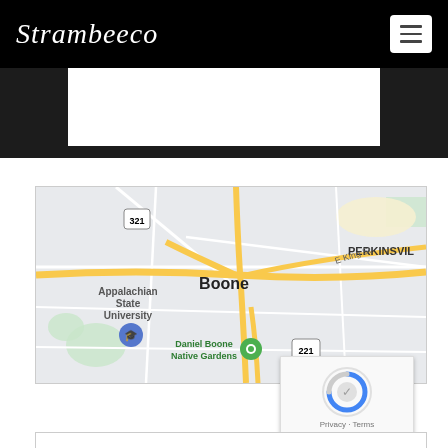Strambeeco
[Figure (map): Google Maps screenshot showing Boone, NC area with Appalachian State University, Daniel Boone Native Gardens, E King St, and Perkinsville labeled. Roads shown in yellow/white on grey map background. Route markers 321, 221 visible.]